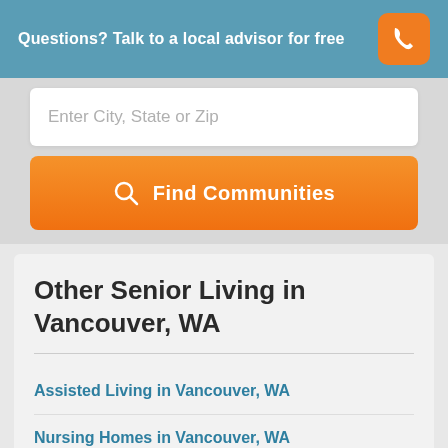Questions? Talk to a local advisor for free
Enter City, State or Zip
Find Communities
Other Senior Living in Vancouver, WA
Assisted Living in Vancouver, WA
Nursing Homes in Vancouver, WA
Continuing Care in Vancouver, WA
Retirement Communities in Vancouver, WA